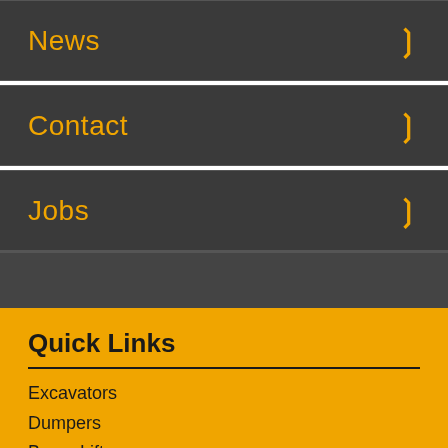News
Contact
Jobs
Quick Links
Excavators
Dumpers
Boom Lifts
Scissor Lifts
Heaters
About Us
Sitemap